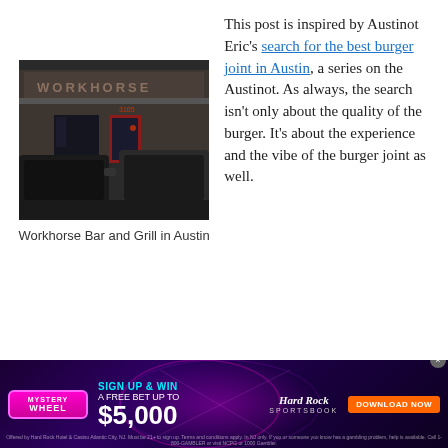[Figure (photo): Exterior photo of Workhorse Bar and Grill in Austin, showing a dark building facade with signage, parked cars in the foreground, and a red-framed door]
Workhorse Bar and Grill in Austin
This post is inspired by Austinot Eric's search for the best burger joint in Austin, a series on the Austinot. As always, the search isn't only about the quality of the burger. It's about the experience and the vibe of the burger joint as well.
[Figure (screenshot): Advertisement banner for Hard Rock Sportsbook Mystery Wheel promotion. Sign up and win a free bet up to $5,000. Download now button visible. Purple/magenta neon background.]